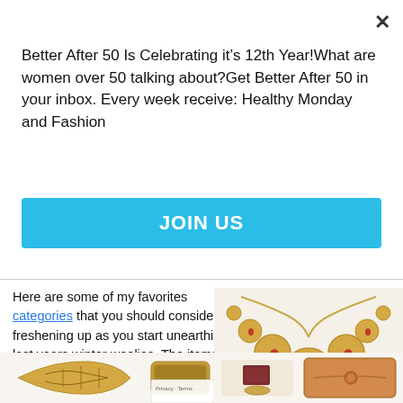Better After 50 Is Celebrating it’s 12th Year!What are women over 50 talking about?Get Better After 50 in your inbox. Every week receive: Healthy Monday and Fashion
JOIN US
Here are some of my favorites categories that you should consider freshening up as you start unearthing last years winter woolies. The items of note are all under $100.
[Figure (photo): Gold coin necklace with red gemstones]
[Figure (photo): Dark red square ring on gold band and brown leather wallet/clutch]
[Figure (photo): Gold filigree cuff bracelet and sunglasses partially visible with reCAPTCHA widget]